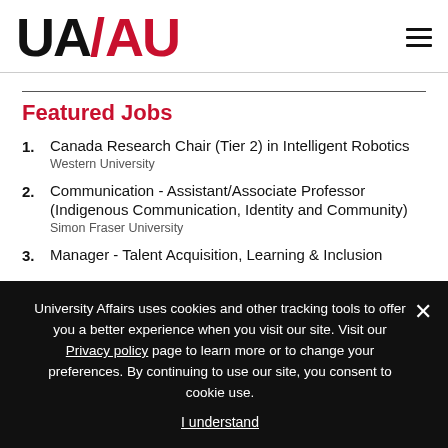[Figure (logo): UA/AU logo — University Affairs bilingual logo with UA in black and AU in red]
1. Canada Research Chair (Tier 2) in Intelligent Robotics
Western University
2. Communication - Assistant/Associate Professor (Indigenous Communication, Identity and Community)
Simon Fraser University
3. Manager - Talent Acquisition, Learning & Inclusion
University Affairs uses cookies and other tracking tools to offer you a better experience when you visit our site. Visit our Privacy policy page to learn more or to change your preferences. By continuing to use our site, you consent to cookie use.
I understand